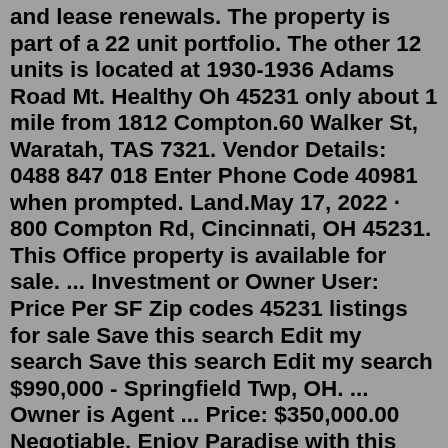and lease renewals. The property is part of a 22 unit portfolio. The other 12 units is located at 1930-1936 Adams Road Mt. Healthy Oh 45231 only about 1 mile from 1812 Compton.60 Walker St, Waratah, TAS 7321. Vendor Details: 0488 847 018 Enter Phone Code 40981 when prompted. Land.May 17, 2022 · 800 Compton Rd, Cincinnati, OH 45231. This Office property is available for sale. ... Investment or Owner User: Price Per SF Zip codes 45231 listings for sale Save this search Edit my search Save this search Edit my search $990,000 - Springfield Twp, OH. ... Owner is Agent ... Price: $350,000.00 Negotiable. Enjoy Paradise with this Lakeside Property! Swim, Kayak, Fish, Relax All Year Round! The Phone Code for this property is: 45728. Please quote this number when phoning or texting. Boasting absolute water front living - this 2-bedroom, 1-bathroom, separate toilet, fully furnished, raised home is perfect as a ... Find a Used Dodge Challenger SRT Hellcat Near You. TrueCar has 209 used Dodge Challenger SRT Hellcat models for sale nationwide, including a Dodge